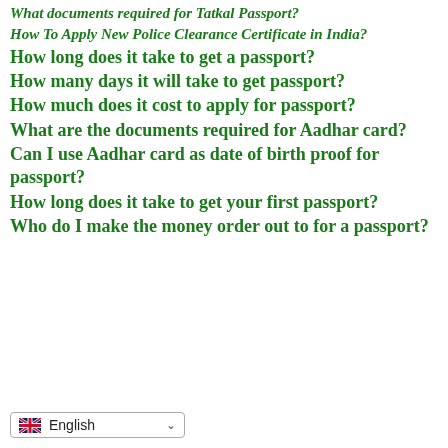What documents required for Tatkal Passport?
How To Apply New Police Clearance Certificate in India?
How long does it take to get a passport?
How many days it will take to get passport?
How much does it cost to apply for passport?
What are the documents required for Aadhar card?
Can I use Aadhar card as date of birth proof for passport?
How long does it take to get your first passport?
Who do I make the money order out to for a passport?